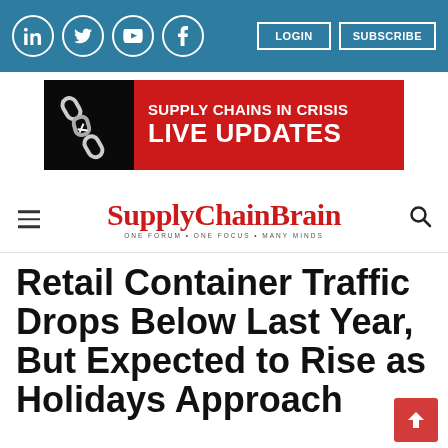Social icons: LinkedIn, Twitter, YouTube, Facebook. Buttons: LOGIN, SUBSCRIBE
[Figure (illustration): Supply Chains in Crisis Live Updates banner ad with broken chain image on black background and red text panel]
SupplyChainBrain — ONE FORUM • ONE FOCUS • MANY MINDS
Retail Container Traffic Drops Below Last Year, But Expected to Rise as Holidays Approach